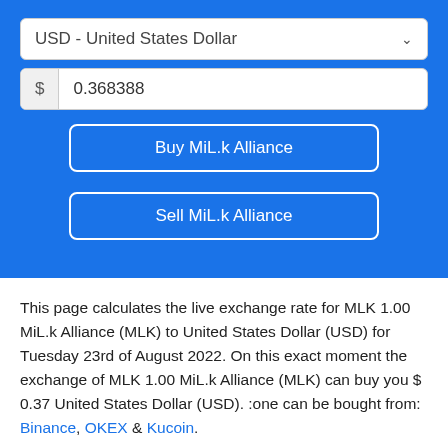USD - United States Dollar
$ 0.368388
Buy MiL.k Alliance
Sell MiL.k Alliance
This page calculates the live exchange rate for MLK 1.00 MiL.k Alliance (MLK) to United States Dollar (USD) for Tuesday 23rd of August 2022. On this exact moment the exchange of MLK 1.00 MiL.k Alliance (MLK) can buy you $ 0.37 United States Dollar (USD). :one can be bought from: Binance, OKEX & Kucoin.
1 MLK = 0.368388 USD
1 USD = 2.714529 MLK